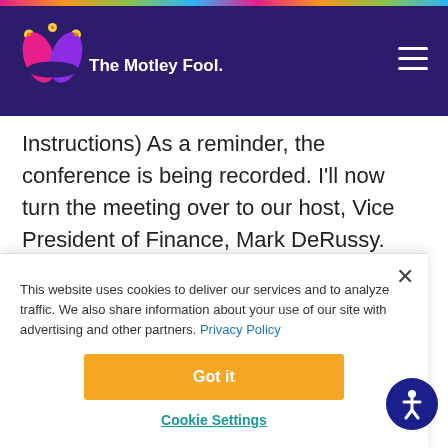The Motley Fool
Instructions) As a reminder, the conference is being recorded. I'll now turn the meeting over to our host, Vice President of Finance, Mark DeRussy. Please go ahead, sir.
Mark DeRussy -- Vice President of Finance
This website uses cookies to deliver our services and to analyze traffic. We also share information about your use of our site with advertising and other partners. Privacy Policy
Got it
Cookie Settings